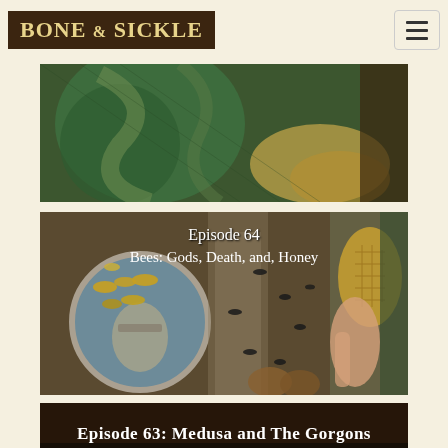BONE & SICKLE
[Figure (illustration): Partial view of an illustrated image, appearing to show green-robed figures with serpentine or flowing elements, in a vintage engraving or painting style.]
[Figure (illustration): Episode 64 cover art: Bees: Gods, Death, and, Honey. Shows bees, a stone medallion with bees, a blindfolded stone figure, honeycomb, and a person holding honeycomb, in a composite vintage artwork style.]
[Figure (illustration): Episode 63: Medusa and The Gorgons. Cover art with white text on dark background at the bottom of the page.]